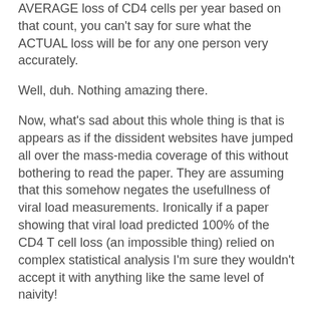AVERAGE loss of CD4 cells per year based on that count, you can't say for sure what the ACTUAL loss will be for any one person very accurately.
Well, duh. Nothing amazing there.
Now, what's sad about this whole thing is that is appears as if the dissident websites have jumped all over the mass-media coverage of this without bothering to read the paper. They are assuming that this somehow negates the usefullness of viral load measurements. Ironically if a paper showing that viral load predicted 100% of the CD4 T cell loss (an impossible thing) relied on complex statistical analysis I'm sure they wouldn't accept it with anything like the same level of naivity!
This is nothing new - we've known for years that various other factors can play into AIDS progression, from nutritional status to immune makeup, depression, and viral genetics. We've known for years that overall T cell losses include uninfected as well as infected cells, that immune hyperactivation leads to apoptosis but a lack of renewal -